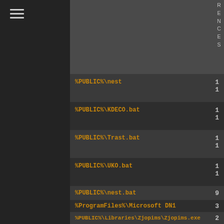[Figure (screenshot): Dark-themed UI sidebar with hamburger menu icon on left, and grey content area with vertical text 'RENCES' on right side]
%PUBLIC%\nest  1  1
%PUBLIC%\KDECO.bat  1  1
%PUBLIC%\Trast.bat  1  1
%PUBLIC%\UKO.bat  1  1
%PUBLIC%\nest.bat  9
%ProgramFiles%\Microsoft DN1  3
%PUBLIC%\Libraries\Zjopims\Zjopims.exe  2